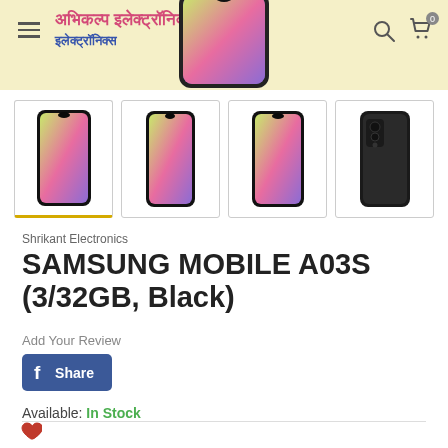Shrikant Electronics — अभिकल्प इलेक्ट्रॉनिक्स
[Figure (photo): Samsung Galaxy A03S smartphone front view shown partially at top of page]
[Figure (photo): Four product thumbnail images of Samsung Galaxy A03S: front view (active/selected), front view, front view, rear view in black]
Shrikant Electronics
SAMSUNG MOBILE A03S (3/32GB, Black)
Add Your Review
f Share
Available: In Stock